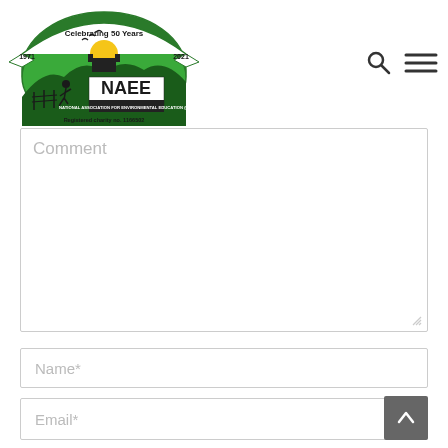[Figure (logo): NAEE National Association for Environmental Education (UK) logo with 'Celebrating 50 Years 1971–2021' banner and 'Registered charity no. 1166502' text]
[Figure (other): Search icon (magnifying glass) and hamburger menu icon in top-right navigation]
Comment
Name*
Email*